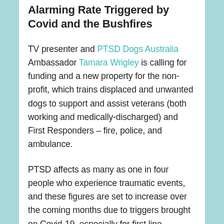Alarming Rate Triggered by Covid and the Bushfires
TV presenter and PTSD Dogs Australia Ambassador Tamara Wrigley is calling for funding and a new property for the non-profit, which trains displaced and unwanted dogs to support and assist veterans (both working and medically-discharged) and First Responders – fire, police, and ambulance.
PTSD affects as many as one in four people who experience traumatic events, and these figures are set to increase over the coming months due to triggers brought on Covid-19, especially for first line